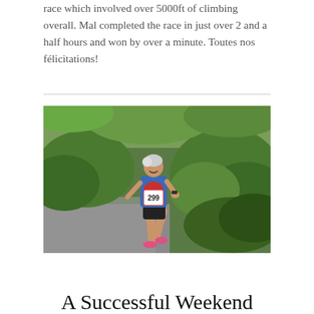race which involved over 5000ft of climbing overall. Mal completed the race in just over 2 and a half hours and won by over a minute. Toutes nos félicitations!
[Figure (photo): A runner (older woman with grey hair) wearing a blue and red vest with race number 299, running on a road path through green vegetation.]
A Successful Weekend